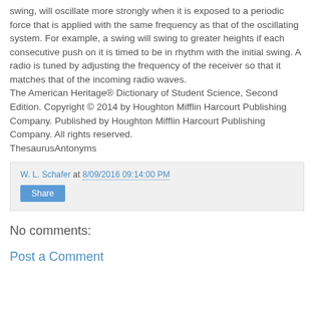swing, will oscillate more strongly when it is exposed to a periodic force that is applied with the same frequency as that of the oscillating system. For example, a swing will swing to greater heights if each consecutive push on it is timed to be in rhythm with the initial swing. A radio is tuned by adjusting the frequency of the receiver so that it matches that of the incoming radio waves.
The American Heritage® Dictionary of Student Science, Second Edition. Copyright © 2014 by Houghton Mifflin Harcourt Publishing Company. Published by Houghton Mifflin Harcourt Publishing Company. All rights reserved.
ThesaurusAntonyms
W. L. Schafer at 8/09/2016 09:14:00 PM
Share
No comments:
Post a Comment